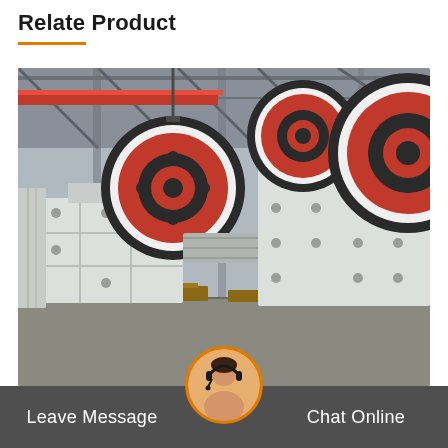Relate Product
[Figure (photo): Industrial jaw crusher machines in a factory setting. Two large white jaw crushers with prominent red and black flywheels are shown side by side on a factory floor with steel structure overhead.]
Leave Message
Chat Online